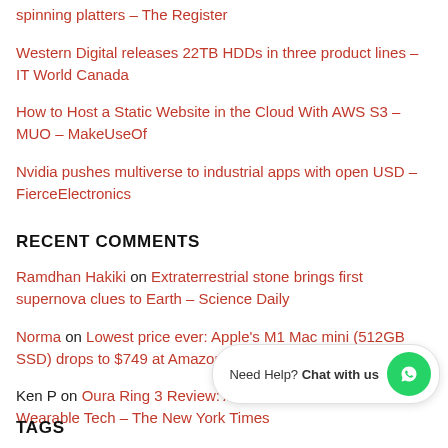spinning platters – The Register
Western Digital releases 22TB HDDs in three product lines – IT World Canada
How to Host a Static Website in the Cloud With AWS S3 – MUO – MakeUseOf
Nvidia pushes multiverse to industrial apps with open USD – FierceElectronics
RECENT COMMENTS
Ramdhan Hakiki on Extraterrestrial stone brings first supernova clues to Earth – Science Daily
Norma on Lowest price ever: Apple's M1 Mac mini (512GB SSD) drops to $749 at Amazon – AppleInsider
Ken P on Oura Ring 3 Review: A Missed Opportunity for Wearable Tech – The New York Times
TAGS